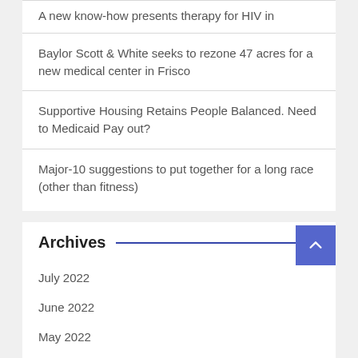A new know-how presents therapy for HIV in
Baylor Scott & White seeks to rezone 47 acres for a new medical center in Frisco
Supportive Housing Retains People Balanced. Need to Medicaid Pay out?
Major-10 suggestions to put together for a long race (other than fitness)
Archives
July 2022
June 2022
May 2022